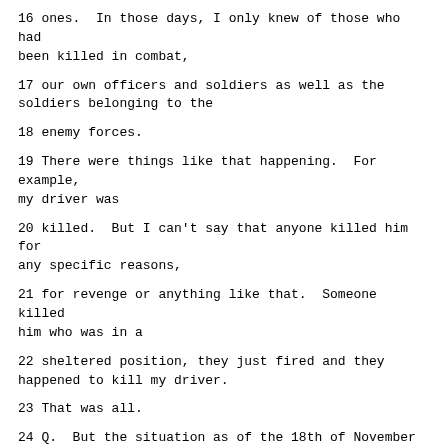16 ones. In those days, I only knew of those who had been killed in combat,
17 our own officers and soldiers as well as the soldiers belonging to the
18 enemy forces.
19 There were things like that happening. For example, my driver was
20 killed. But I can't say that anyone killed him for any specific reasons,
21 for revenge or anything like that. Someone killed him who was in a
22 sheltered position, they just fired and they happened to kill my driver.
23 That was all.
24 Q. But the situation as of the 18th of November changed because, for
25 the first time, Croat defenders did not have their weapons. Many of them
Page 13789
1 had disarmed themselves and they were extremely vulnerable to revenge.